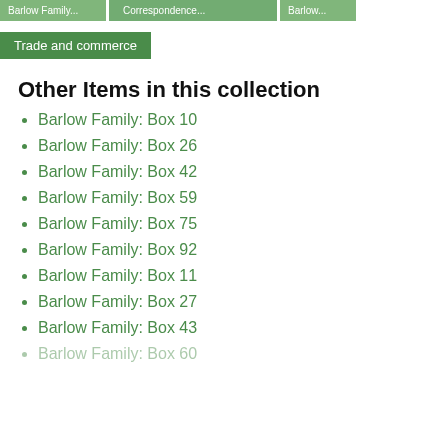Trade and commerce
Other Items in this collection
Barlow Family: Box 10
Barlow Family: Box 26
Barlow Family: Box 42
Barlow Family: Box 59
Barlow Family: Box 75
Barlow Family: Box 92
Barlow Family: Box 11
Barlow Family: Box 27
Barlow Family: Box 43
Barlow Family: Box 60